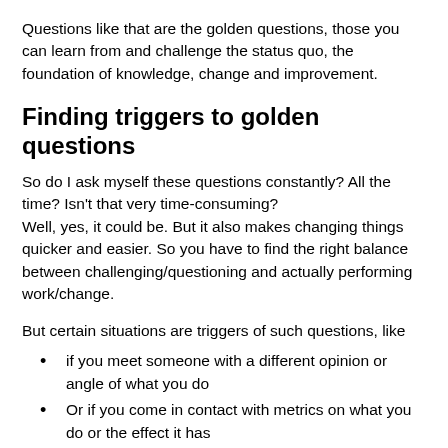Questions like that are the golden questions, those you can learn from and challenge the status quo, the foundation of knowledge, change and improvement.
Finding triggers to golden questions
So do I ask myself these questions constantly? All the time? Isn't that very time-consuming?
Well, yes, it could be. But it also makes changing things quicker and easier. So you have to find the right balance between challenging/questioning and actually performing work/change.
But certain situations are triggers of such questions, like
if you meet someone with a different opinion or angle of what you do
Or if you come in contact with metrics on what you do or the effect it has
Or if you come to think about the value you deliver to others